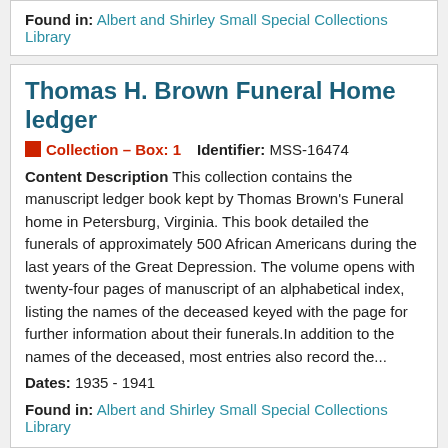Found in: Albert and Shirley Small Special Collections Library
Thomas H. Brown Funeral Home ledger
Collection – Box: 1   Identifier: MSS-16474
Content Description This collection contains the manuscript ledger book kept by Thomas Brown's Funeral home in Petersburg, Virginia. This book detailed the funerals of approximately 500 African Americans during the last years of the Great Depression. The volume opens with twenty-four pages of manuscript of an alphabetical index, listing the names of the deceased keyed with the page for further information about their funerals.In addition to the names of the deceased, most entries also record the...
Dates: 1935 - 1941
Found in: Albert and Shirley Small Special Collections Library